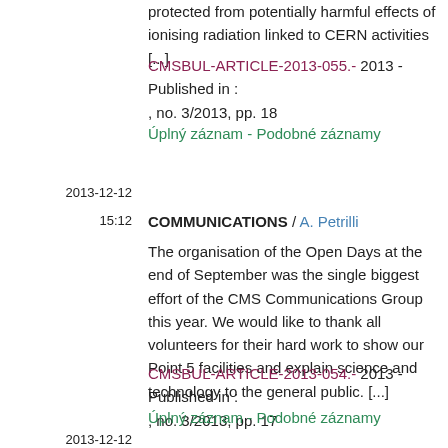protected from potentially harmful effects of ionising radiation linked to CERN activities [...]
CMSBUL-ARTICLE-2013-055.- 2013 - Published in : , no. 3/2013, pp. 18
Úplný záznam - Podobné záznamy
2013-12-12
15:12
COMMUNICATIONS / A. Petrilli
The organisation of the Open Days at the end of September was the single biggest effort of the CMS Communications Group this year. We would like to thank all volunteers for their hard work to show our Point 5 facilities and explain science and technology to the general public. [...]
CMSBUL-ARTICLE-2013-054.- 2013 - Published in : , no. 3/2013, pp. 17
Úplný záznam - Podobné záznamy
2013-12-12